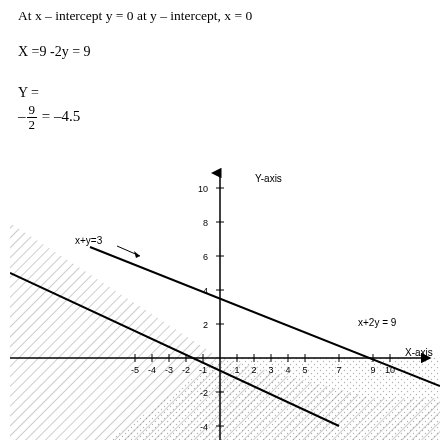At x – intercept y = 0 at y – intercept, x = 0
[Figure (other): Coordinate plane graph showing two lines: x+y=3 (with hatched region below/left) and x+2y=9 (with dotted region below/right). The graph has X-axis and Y-axis labels, with tick marks from -5 to 10+ on x-axis and -4 to 10 on y-axis.]